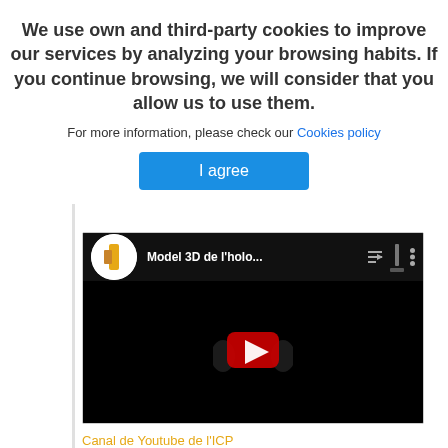We use own and third-party cookies to improve our services by analyzing your browsing habits. If you continue browsing, we will consider that you allow us to use them.
For more information, please check our Cookies policy
I agree
[Figure (screenshot): YouTube video embed showing 'Model 3D de l'holo...' with ICP channel logo, dark background, and YouTube play button]
Canal de Youtube de l'ICP